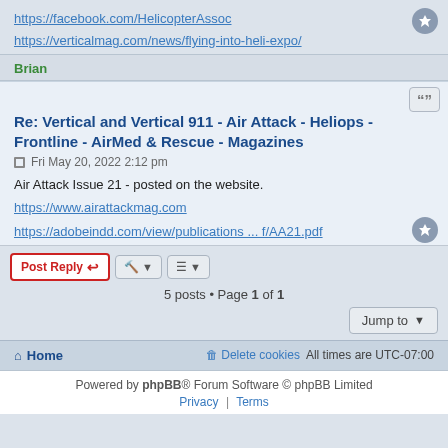https://facebook.com/HelicopterAssoc
https://verticalmag.com/news/flying-into-heli-expo/
Brian
Re: Vertical and Vertical 911 - Air Attack - Heliops - Frontline - AirMed & Rescue - Magazines
Fri May 20, 2022 2:12 pm
Air Attack Issue 21 - posted on the website.
https://www.airattackmag.com
https://adobeindd.com/view/publications ... f/AA21.pdf
5 posts • Page 1 of 1
Home   Delete cookies   All times are UTC-07:00
Powered by phpBB® Forum Software © phpBB Limited
Privacy | Terms